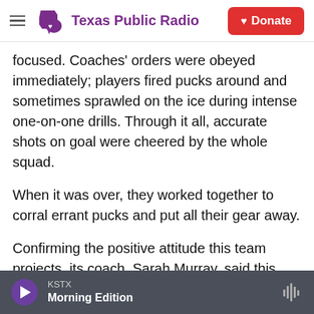Texas Public Radio | Donate
focused. Coaches' orders were obeyed immediately; players fired pucks around and sometimes sprawled on the ice during intense one-on-one drills. Through it all, accurate shots on goal were cheered by the whole squad.
When it was over, they worked together to corral errant pucks and put all their gear away.
Confirming the positive attitude this team projects, its coach, Sarah Murray, said this week, "We feel strangely calm given everything that is going on. The thing we were most worried about was team
KSTX  Morning Edition